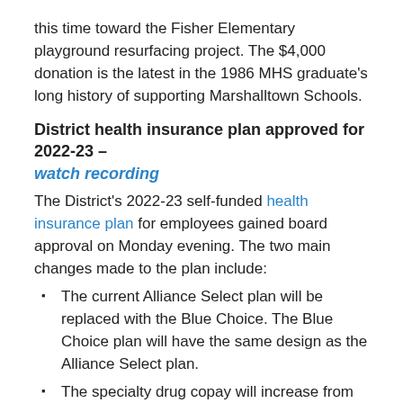this time toward the Fisher Elementary playground resurfacing project. The $4,000 donation is the latest in the 1986 MHS graduate's long history of supporting Marshalltown Schools.
District health insurance plan approved for 2022-23 – watch recording
The District's 2022-23 self-funded health insurance plan for employees gained board approval on Monday evening. The two main changes made to the plan include:
The current Alliance Select plan will be replaced with the Blue Choice. The Blue Choice plan will have the same design as the Alliance Select plan.
The specialty drug copay will increase from $85 to $100 and will move to the Exclusive Specialty Pharmacy Program with the copay card.